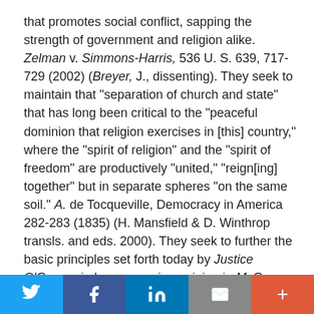that promotes social conflict, sapping the strength of government and religion alike. Zelman v. Simmons-Harris, 536 U. S. 639, 717-729 (2002) (Breyer, J., dissenting). They seek to maintain that "separation of church and state" that has long been critical to the "peaceful dominion that religion exercises in [this] country," where the "spirit of religion" and the "spirit of freedom" are productively "united," "reign[ing] together" but in separate spheres "on the same soil." A. de Tocqueville, Democracy in America 282-283 (1835) (H. Mansfield & D. Winthrop transls. and eds. 2000). They seek to further the basic principles set forth today by Justice O'Connor in her concurring opinion in McCreary County v. American Civil Liberties Union of Ky., post, at 1.
The Court has made clear, as Justices Goldberg and Harlan noted, that the realization of these goals means that government must "neither engage in nor compel religious
Twitter | Facebook | LinkedIn | Email | +